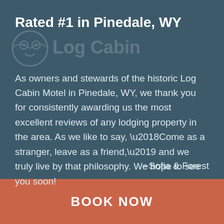Rated #1 in Pinedale, WY
As owners and stewards of the historic Log Cabin Motel in Pinedale, WY, we thank you for consistently awarding us the most excellent reviews of any lodging property in the area. As we like to say, ‘Come as a stranger, leave as a friend,’ and we truly live by that philosophy. We hope to see you soon!
~Sofia & Forest
BOOK NOW